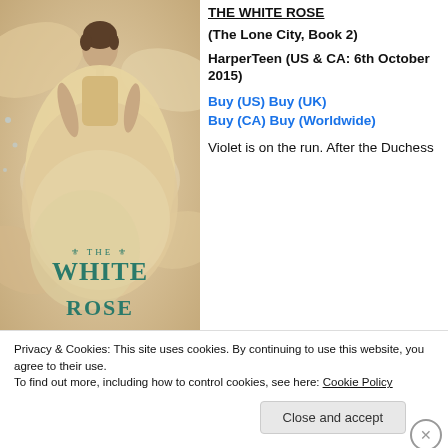[Figure (photo): Book cover of 'The White Rose' showing a young woman in a cream/gold ball gown surrounded by white rose petals, with teal-colored title text.]
(The Lone City, Book 2)
HarperTeen (US & CA: 6th October 2015)
Buy (US) Buy (UK) Buy (CA) Buy (Worldwide)
Violet is on the run. After the Duchess
Privacy & Cookies: This site uses cookies. By continuing to use this website, you agree to their use.
To find out more, including how to control cookies, see here: Cookie Policy
Close and accept